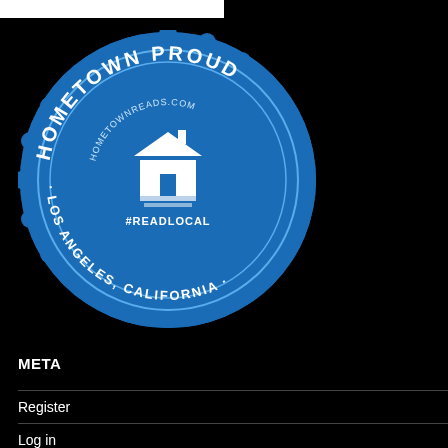[Figure (logo): Hometown Proud badge/seal for Los Angeles, California from HometownReads.com with #ReadLocal text and a house/book icon, blue circular badge with scalloped edge]
META
Register
Log in
Entries feed
Comments feed